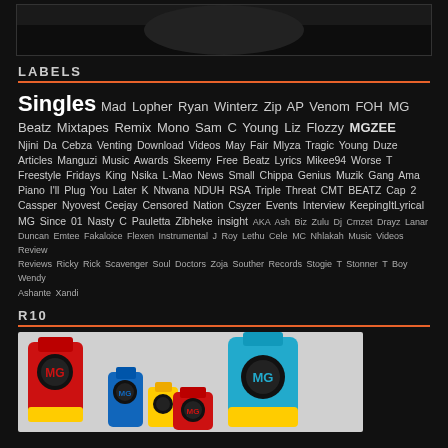[Figure (photo): Partial photo at top of page, dark background]
LABELS
Singles Mad Lopher Ryan Winterz Zip AP Venom FOH MG Beatz Mixtapes Remix Mono Sam C Young Liz Flozzy MGZEE Njini Da Cebza Venting Download Videos May Fair Mlyza Tragic Young Duze Articles Manguzi Music Awards Skeemy Free Beatz Lyrics Mikee94 Worse T Freestyle Fridays King Nsika L-Mao News Small Chippa Genius Muzik Gang Ama Piano I'll Plug You Later K Ntwana NDUH RSA Triple Threat CMT BEATZ Cap 2 Cassper Nyovest Ceejay Censored Nation Csyzer Events Interview KeepingItLyrical MG Since 01 Nasty C Pauletta Zibheke insight AKA Ash Biz Zulu Dj Cmzet Drayz Lanar Duncan Emtee Fakaloice Flexen Instrumental J Roy Lethu Cele MC Nhlakah Music Videos Review Reviews Ricky Rick Scavenger Soul Doctors Zoja Souther Records Stogie T Stonner T Boy Wendy Ashante Xandi
R10
[Figure (photo): Colorful product bottles/containers with MG logos in red, blue, yellow colors]